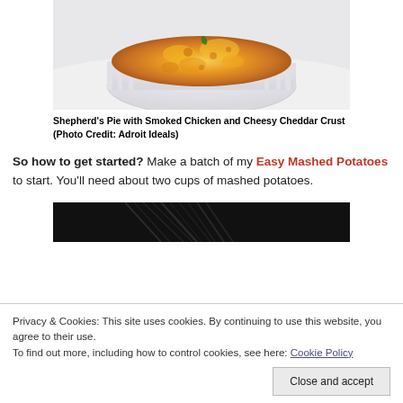[Figure (photo): A white ramekin dish filled with Shepherd's Pie with a golden cheesy crust, viewed from above at an angle.]
Shepherd's Pie with Smoked Chicken and Cheesy Cheddar Crust (Photo Credit: Adroit Ideals)
So how to get started? Make a batch of my Easy Mashed Potatoes to start. You'll need about two cups of mashed potatoes.
[Figure (photo): A dark/black photo, partially visible, appearing to show hair or a dark textured surface.]
Privacy & Cookies: This site uses cookies. By continuing to use this website, you agree to their use.
To find out more, including how to control cookies, see here: Cookie Policy
Close and accept
Whisk the mashed potatoes to make them